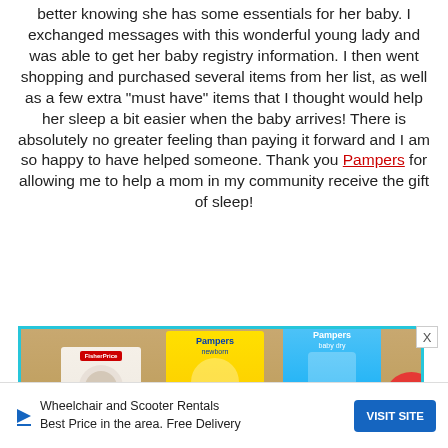better knowing she has some essentials for her baby. I exchanged messages with this wonderful young lady and was able to get her baby registry information. I then went shopping and purchased several items from her list, as well as a few extra “must have” items that I thought would help her sleep a bit easier when the baby arrives! There is absolutely no greater feeling than paying it forward and I am so happy to have helped someone. Thank you Pampers for allowing me to help a mom in my community receive the gift of sleep!
[Figure (photo): Photo showing baby product boxes including Fisher-Price and Pampers (newborn and baby dry) products on a surface]
[Figure (other): Advertisement banner: Wheelchair and Scooter Rentals, Best Price in the area. Free Delivery. VISIT SITE button.]